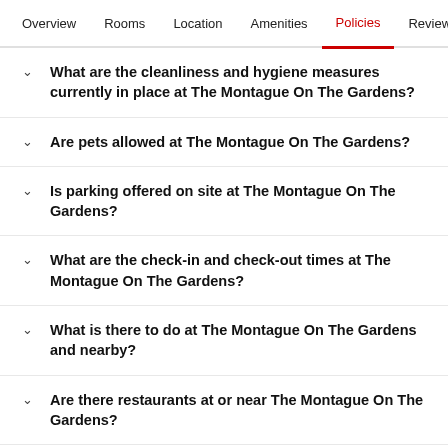Overview  Rooms  Location  Amenities  Policies  Reviews
What are the cleanliness and hygiene measures currently in place at The Montague On The Gardens?
Are pets allowed at The Montague On The Gardens?
Is parking offered on site at The Montague On The Gardens?
What are the check-in and check-out times at The Montague On The Gardens?
What is there to do at The Montague On The Gardens and nearby?
Are there restaurants at or near The Montague On The Gardens?
What's the area around The Montague On The Gardens like?